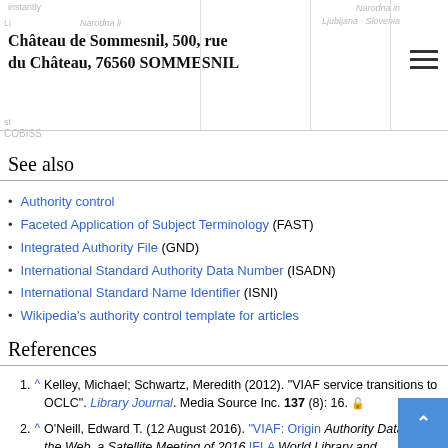Château de Sommesnil, 500, rue du Château, 76560 SOMMESNIL
See also
Authority control
Faceted Application of Subject Terminology (FAST)
Integrated Authority File (GND)
International Standard Authority Data Number (ISADN)
International Standard Name Identifier (ISNI)
Wikipedia's authority control template for articles
References
1. ^ Kelley, Michael; Schwartz, Meredith (2012). "VIAF service transitions to OCLC". Library Journal. Media Source Inc. 137 (8): 16.
2. ^ O'Neill, Edward T. (12 August 2016). "VIAF: Origin Authority Data on the Web, a Satellite Meeting of 2016 IFLA World Library and Information Congress. OCLC.